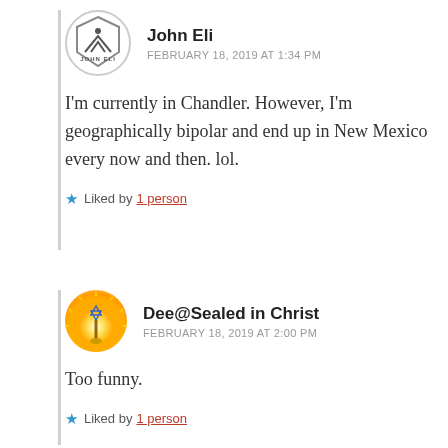[Figure (logo): John Eli avatar logo - hexagon shape with mountain and person icon, text JOHN ELI]
John Eli
FEBRUARY 18, 2019 AT 1:34 PM
I'm currently in Chandler. However, I'm geographically bipolar and end up in New Mexico every now and then. lol.
★ Liked by 1 person
[Figure (illustration): Dee@Sealed in Christ avatar - golden radiant circle with Star of David on a staff]
Dee@Sealed in Christ
FEBRUARY 18, 2019 AT 2:00 PM
Too funny.
★ Liked by 1 person